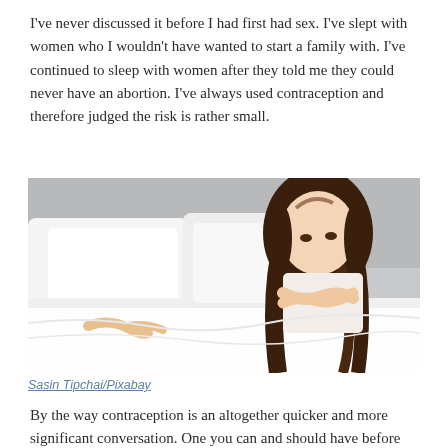I've never discussed it before I had first had sex. I've slept with women who I wouldn't have wanted to start a family with. I've continued to sleep with women after they told me they could never have an abortion. I've always used contraception and therefore judged the risk is rather small.
[Figure (photo): A woman with long brown hair sitting up in bed with white sheets, arms crossed, looking down with a sad or upset expression. Another person's hand is visible under the covers beside her. The room has a grey headboard and light background.]
Sasin Tipchai/Pixabay
By the way contraception is an altogether quicker and more significant conversation. One you can and should have before she flings your pants across the room. I've never met a woman who was turned off by